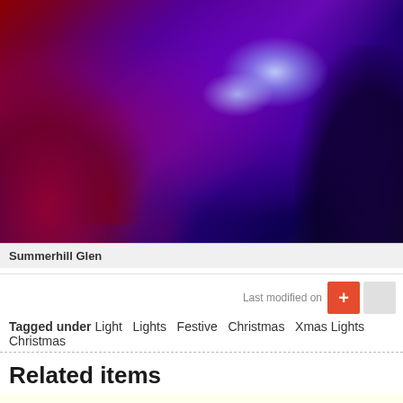[Figure (photo): Night-time photo of Summerhill Glen illuminated with colorful Christmas lights in red, purple and blue tones, with lush foliage]
Summerhill Glen
Last modified on
Tagged under Light Lights Festive Christmas Xmas Lights Christmas
Related items
Crowds flock to 'Christmas Live'
Vote. Vote. Vote…for the Best Dressed Window
Douglas to host 'Artisan Island at Christmas'
Public and retailers hail 'new-format' Douglas Christmas lights event a
Free parking on Thursday nights from October 29 until Christmas